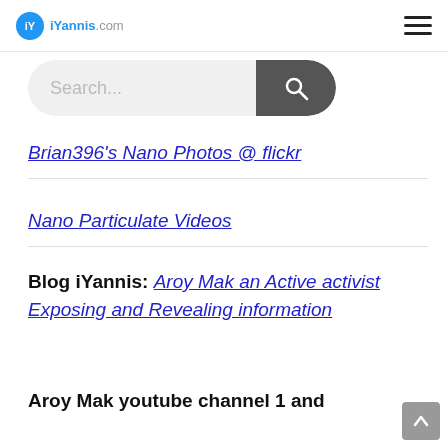iYannis.com
[Figure (screenshot): Search bar with placeholder text 'Search...' and a dark search button with magnifying glass icon]
Brian396's Nano Photos @ flickr
Nano Particulate Videos
Blog iYannis: Aroy Mak an Active activist Exposing and Revealing information
Aroy Mak youtube channel 1 and